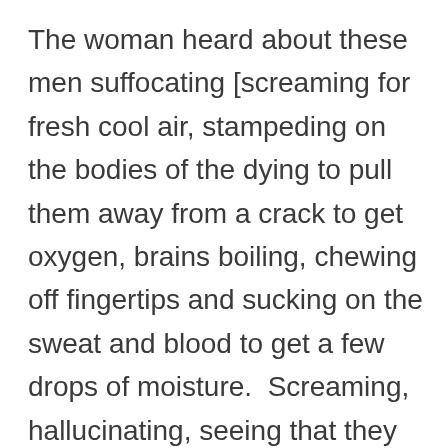The woman heard about these men suffocating [screaming for fresh cool air, stampeding on the bodies of the dying to pull them away from a crack to get oxygen, brains boiling, chewing off fingertips and sucking on the sweat and blood to get a few drops of moisture.  Screaming, hallucinating, seeing that they were going to die this way and never seeing their loved ones again.  Dying horrible deaths and leaving survivors who would always remember how their family members had suffered and died.] she felt joy, satisfaction, because in their